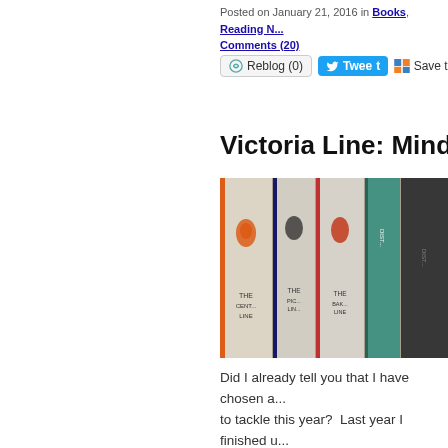Posted on January 21, 2016 in Books, Reading N... Comments (20)
Reblog (0)  Tweet  Save to del.ici...
Victoria Line: Mind the Chil...
[Figure (photo): Photo of Penguin Lines book spines arranged side by side, showing penguin logos and partial text including 'The Central Line', 'The Piccadilly Line', 'The Bakerloo Line', and other line names on colored spines.]
Did I already tell you that I have chosen a... to tackle this year?  Last year I finished u... books, which I started to read the year b... satisfying in a variety of ways.  Good bo... comforting reading and the satisfaction o... (even if it took me longer to read them a... I was ready for something a little differen... series of books--Penguin Lines that were... celebration of the 150th anniversary of th...